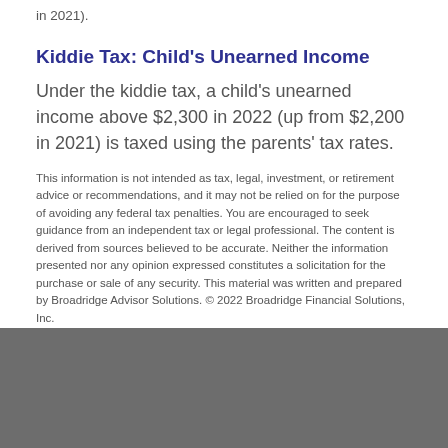in 2021).
Kiddie Tax: Child's Unearned Income
Under the kiddie tax, a child's unearned income above $2,300 in 2022 (up from $2,200 in 2021) is taxed using the parents' tax rates.
This information is not intended as tax, legal, investment, or retirement advice or recommendations, and it may not be relied on for the purpose of avoiding any federal tax penalties. You are encouraged to seek guidance from an independent tax or legal professional. The content is derived from sources believed to be accurate. Neither the information presented nor any opinion expressed constitutes a solicitation for the purchase or sale of any security. This material was written and prepared by Broadridge Advisor Solutions. © 2022 Broadridge Financial Solutions, Inc.